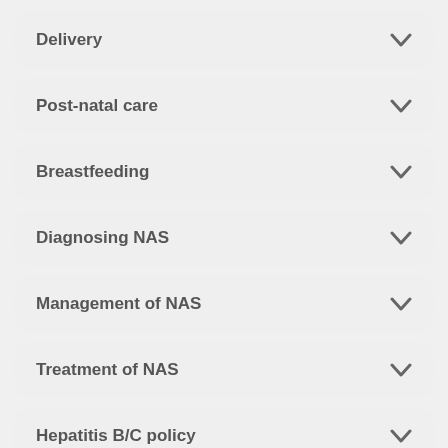Delivery
Post-natal care
Breastfeeding
Diagnosing NAS
Management of NAS
Treatment of NAS
Hepatitis B/C policy